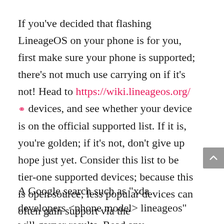If you've decided that flashing LineageOS on your phone is for you, first make sure your phone is supported; there's not much use carrying on if it's not! Head to https://wiki.lineageos.org/ devices, and see whether your device is on the official supported list. If it is, you're golden; if it's not, don't give up hope just yet. Consider this list to be tier-one supported devices; because this is open source, less popular devices can often gain support via the https://forum.xda-developers.com community.
A Google search such as "xda developers <phone model> lineageos" will garner results. Read any